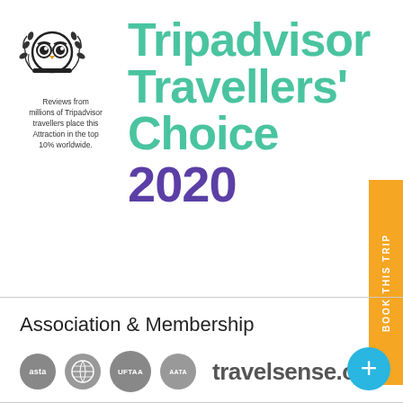[Figure (logo): Tripadvisor owl logo with laurel wreath and text: Reviews from millions of Tripadvisor travellers place this Attraction in the top 10% worldwide.]
Tripadvisor Travellers' Choice 2020
BOOK THIS TRIP
Association & Membership
[Figure (logo): Row of association logos: asta, IATA, UFTAA, AATA, and travelsense.org]